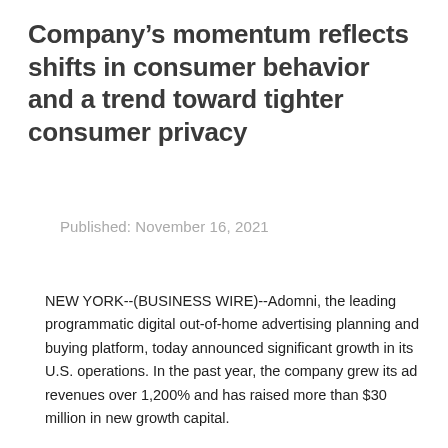Company’s momentum reflects shifts in consumer behavior and a trend toward tighter consumer privacy
Published: November 16, 2021
NEW YORK--(BUSINESS WIRE)--Adomni, the leading programmatic digital out-of-home advertising planning and buying platform, today announced significant growth in its U.S. operations. In the past year, the company grew its ad revenues over 1,200% and has raised more than $30 million in new growth capital.